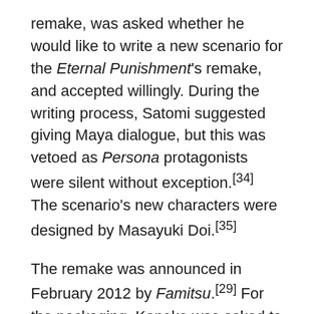remake, was asked whether he would like to write a new scenario for the Eternal Punishment's remake, and accepted willingly. During the writing process, Satomi suggested giving Maya dialogue, but this was vetoed as Persona protagonists were silent without exception.[34] The scenario's new characters were designed by Masayuki Doi.[35]
The remake was announced in February 2012 by Famitsu.[29] For the packaging, Kaneko was asked to design a new piece of key art. The artwork features Maya and her initial Persona Maia.[36] The remake was not released outside Japan due to "unusual circumstances".[26]Game Informer included the game on its list of "RPGs Released Late In The PSP's Life Cycle", games